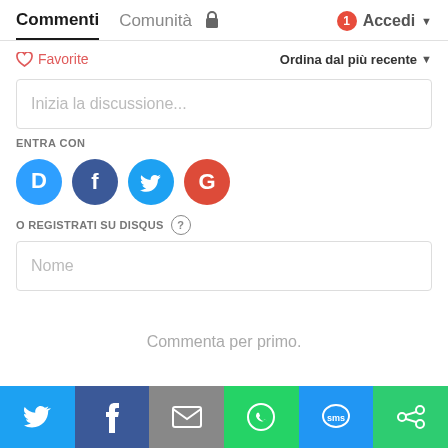Commenti   Comunità   🔒   1   Accedi
♡ Favorite   Ordina dal più recente ▾
Inizia la discussione...
ENTRA CON
[Figure (other): Social login icons: Disqus (blue), Facebook (dark blue), Twitter (light blue), Google (red)]
O REGISTRATI SU DISQUS ?
Nome
Commenta per primo.
[Figure (other): Share bar with Twitter, Facebook, Email, WhatsApp, SMS, ShareThis icons]